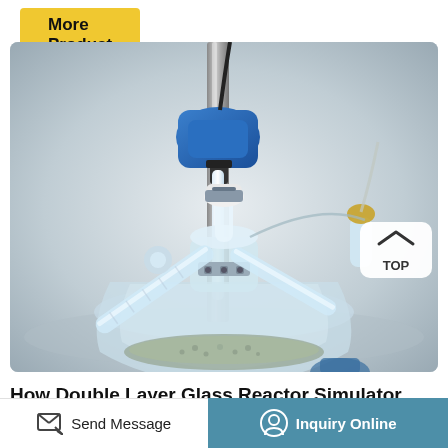More Product
[Figure (photo): Close-up photo of a double-layer glass reactor showing glass vessels, metal clamps, tubing, and a blue motor mount on a steel stand with granular material visible inside the reactor flask.]
How Double Layer Glass Reactor Simulator
Product Description. S212-2L double-layer glass
Send Message
Inquiry Online